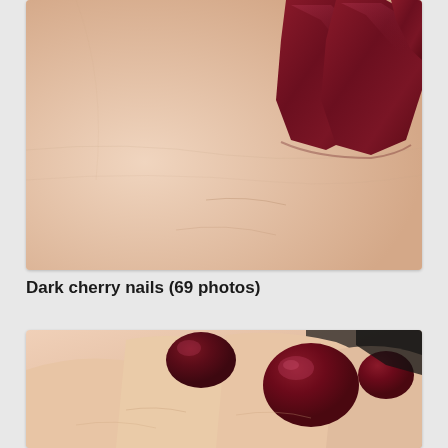[Figure (photo): Close-up photo of a hand showing square-shaped dark cherry/burgundy nails against pale skin, top-down angled view showing fingers curled]
Dark cherry nails (69 photos)
[Figure (photo): Close-up photo of a hand with rounded dark cherry/burgundy nail polish, fingers spread, showing multiple fingers with glossy dark red nails]